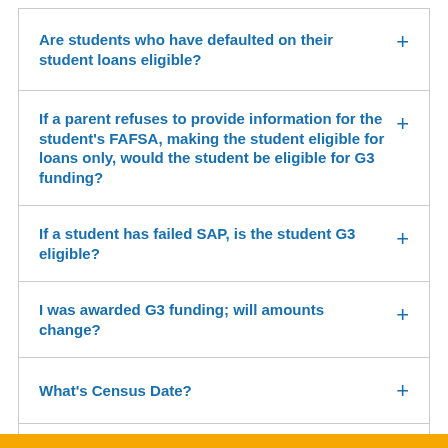Are students who have defaulted on their student loans eligible?
If a parent refuses to provide information for the student's FAFSA, making the student eligible for loans only, would the student be eligible for G3 funding?
If a student has failed SAP, is the student G3 eligible?
I was awarded G3 funding; will amounts change?
What's Census Date?
What's SSIG?